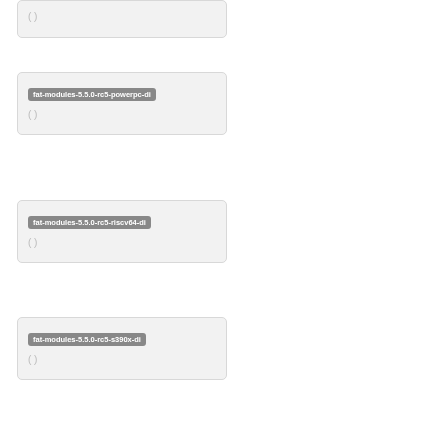( )
fat-modules-5.5.0-rc5-powerpc-di
( )
fat-modules-5.5.0-rc5-riscv64-di
( )
fat-modules-5.5.0-rc5-s390x-di
( )
fat-modules-5.5.0-rc5-sh7751r-di
( )
fat-modules-5.5.0-rc5-sh7785lcr-di
( )